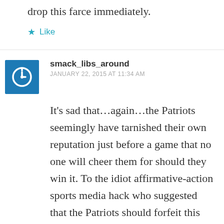drop this farce immediately.
★ Like
smack_libs_around
JANUARY 22, 2015 AT 11:34 AM
It's sad that…again…the Patriots seemingly have tarnished their own reputation just before a game that no one will cheer them for should they win it. To the idiot affirmative-action sports media hack who suggested that the Patriots should forfeit this game: Take a walk into any sports book in Las Vegas and see